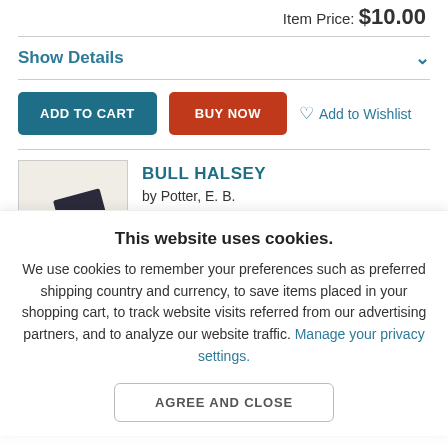Item Price: $10.00
Show Details
ADD TO CART
BUY NOW
Add to Wishlist
BULL HALSEY
by Potter, E. B.
Seller: More Jones Books
This website uses cookies.
We use cookies to remember your preferences such as preferred shipping country and currency, to save items placed in your shopping cart, to track website visits referred from our advertising partners, and to analyze our website traffic. Manage your privacy settings.
AGREE AND CLOSE